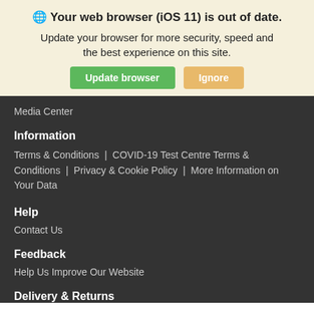Your web browser (iOS 11) is out of date.
Update your browser for more security, speed and the best experience on this site.
Update browser | Ignore
Media Center
Information
Terms & Conditions | COVID-19 Test Centre Terms & Conditions | Privacy & Cookie Policy | More Information on Your Data
Help
Contact Us
Feedback
Help Us Improve Our Website
Delivery & Returns